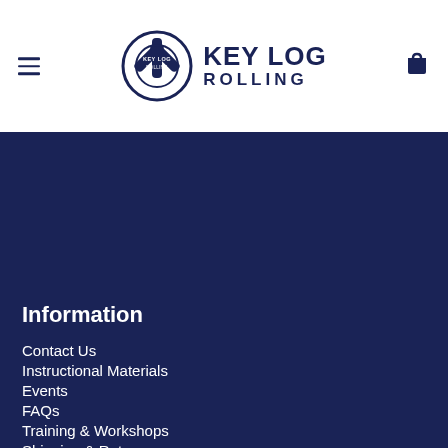Key Log Rolling — navigation header with logo, hamburger menu, and cart icon
Information
Contact Us
Instructional Materials
Events
FAQs
Training & Workshops
Shipping & Returns